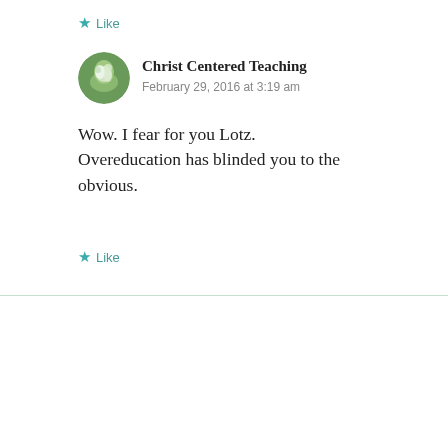★ Like
Christ Centered Teaching
February 29, 2016 at 3:19 am
Wow. I fear for you Lotz. Overeducation has blinded you to the obvious.
★ Like
Lotz
February 29, 2016 at 6:00 am
What exactly is obvious? And if it is obvious, can't you convince me of it?